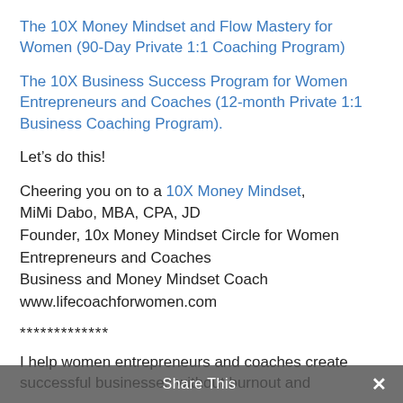The 10X Money Mindset and Flow Mastery for Women (90-Day Private 1:1 Coaching Program)
The 10X Business Success Program for Women Entrepreneurs and Coaches (12-month Private 1:1 Business Coaching Program).
Let’s do this!
Cheering you on to a 10X Money Mindset, MiMi Dabo, MBA, CPA, JD Founder, 10x Money Mindset Circle for Women Entrepreneurs and Coaches Business and Money Mindset Coach www.lifecoachforwomen.com
*************
I help women entrepreneurs and coaches create successful businesses without burnout and
Share This ×